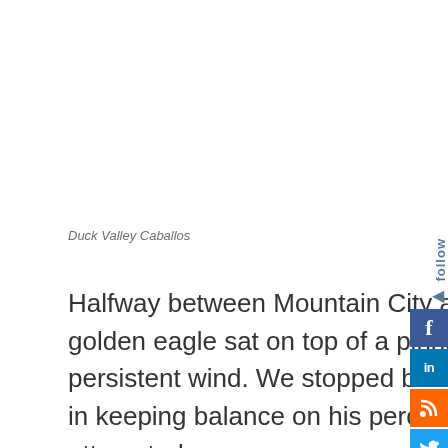Duck Valley Caballos
Halfway between Mountain City and Wild Horse Reservoir a golden eagle sat on top of a pinnacle of rock and fought off a persistent wind. We stopped below but he acted more interested in keeping balance on his perch than on the photography we attempted.